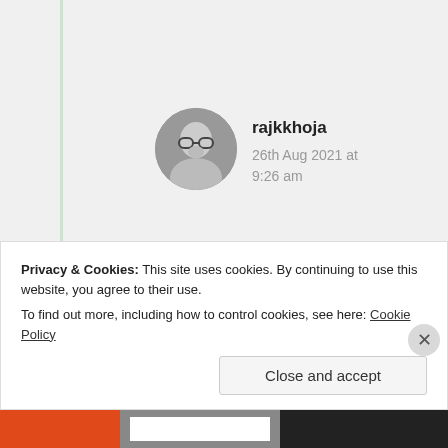[Figure (photo): Circular avatar photo of user rajkkhoja, black and white photo of a person with glasses]
rajkkhoja
26th Aug 2021 at 9:26 am
👍😀welcome to u.
★ Liked by 3 people
[Figure (photo): Circular avatar photo of user KK]
KK
Privacy & Cookies: This site uses cookies. By continuing to use this website, you agree to their use.
To find out more, including how to control cookies, see here: Cookie Policy
Close and accept